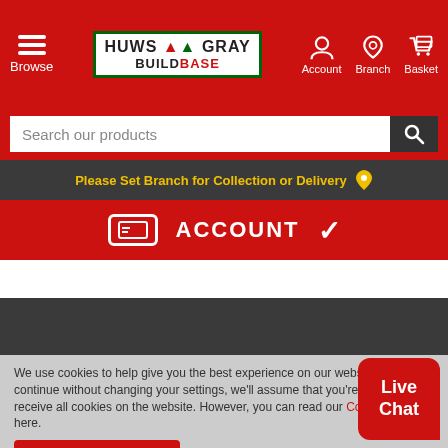[Figure (screenshot): Huws Gray Buildbase website header with logo, Browse, Account, Branch, Basket icons on red background]
Search our products
Please Set Branch for Collection or Delivery
ACCOUNT
CONTACT
To view your nearest branch contact details,
We use cookies to help give you the best experience on our website. If you continue without changing your settings, we'll assume that you're happy to receive all cookies on the website. However, you can read our Cookie Policy here.
Accept and Continue
Live Chat